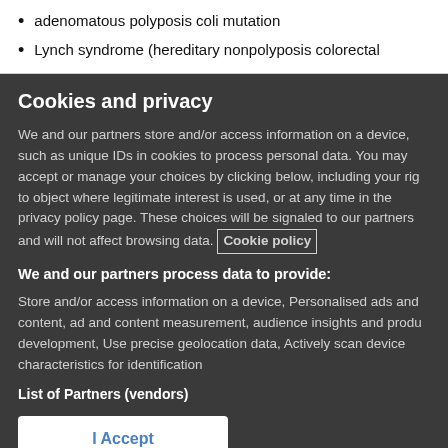adenomatous polyposis coli mutation
Lynch syndrome (hereditary nonpolyposis colorectal
Cookies and privacy
We and our partners store and/or access information on a device, such as unique IDs in cookies to process personal data. You may accept or manage your choices by clicking below, including your rig to object where legitimate interest is used, or at any time in the privacy policy page. These choices will be signaled to our partners and will not affect browsing data. Cookie policy
We and our partners process data to provide:
Store and/or access information on a device, Personalised ads and content, ad and content measurement, audience insights and produ development, Use precise geolocation data, Actively scan device characteristics for identification
List of Partners (vendors)
I Accept